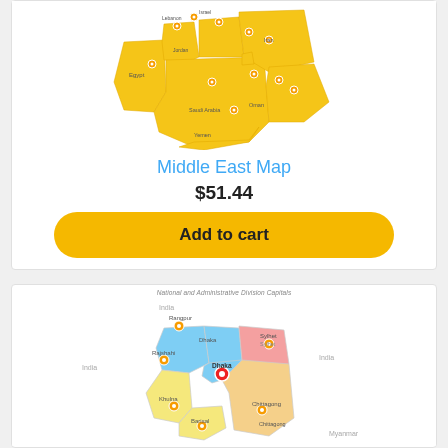[Figure (map): Middle East Map showing countries including Egypt, Jordan, Saudi Arabia, Iraq, Iran, UAE, Oman, Yemen with orange location pins marking major cities]
Middle East Map
$51.44
Add to cart
National and Administrative Division Capitals
[Figure (map): Bangladesh map showing administrative divisions (Rajshahi, Dhaka, Sylhet, Khulna, Barisal, Chittagong, Rangpur) in different colors with location pins and surrounding India and Myanmar labels]